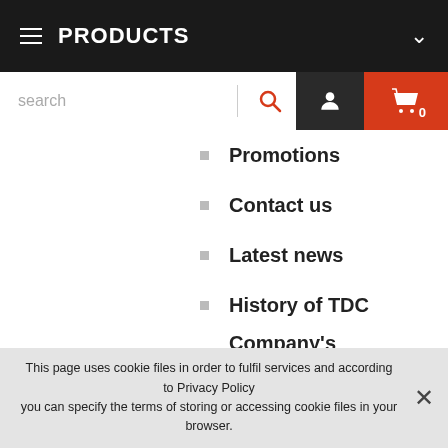PRODUCTS
[Figure (screenshot): Search bar with text input, search icon, user icon button, and red cart button showing 0 items]
Promotions
Contact us
Latest news
History of TDC
Company's presentation
Certificates
Rewards
Gallery
This page uses cookie files in order to fulfil services and according to Privacy Policy you can specify the terms of storing or accessing cookie files in your browser.